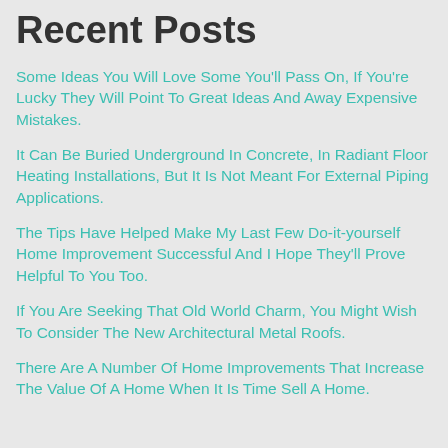Recent Posts
Some Ideas You Will Love Some You'll Pass On, If You're Lucky They Will Point To Great Ideas And Away Expensive Mistakes.
It Can Be Buried Underground In Concrete, In Radiant Floor Heating Installations, But It Is Not Meant For External Piping Applications.
The Tips Have Helped Make My Last Few Do-it-yourself Home Improvement Successful And I Hope They'll Prove Helpful To You Too.
If You Are Seeking That Old World Charm, You Might Wish To Consider The New Architectural Metal Roofs.
There Are A Number Of Home Improvements That Increase The Value Of A Home When It Is Time Sell A Home.